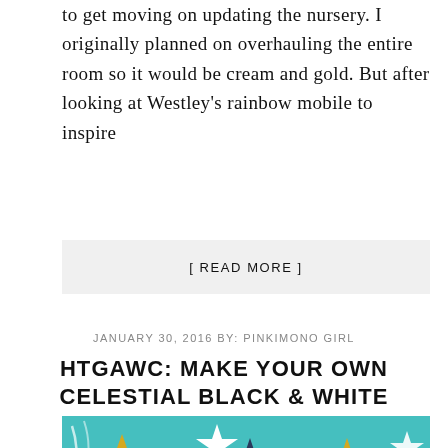to get moving on updating the nursery. I originally planned on overhauling the entire room so it would be cream and gold. But after looking at Westley's rainbow mobile to inspire
[ READ MORE ]
JANUARY 30, 2016 BY: PINKIMONO GIRL
HTGAWC: MAKE YOUR OWN CELESTIAL BLACK & WHITE MOBILE
[Figure (photo): A teal/turquoise background with star shapes in gold, white, and dark navy hanging as a mobile. The stars are scattered across the image in various sizes.]